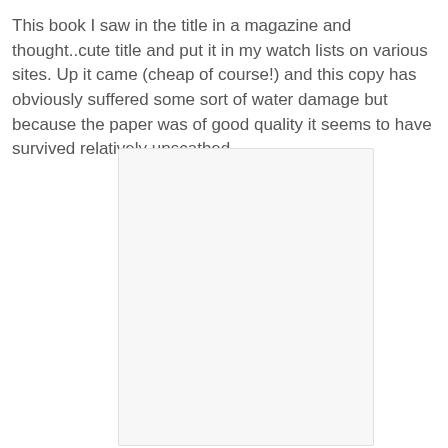This book I saw in the title in a magazine and thought..cute title and put it in my watch lists on various sites. Up it came (cheap of course!) and this copy has obviously suffered some sort of water damage but because the paper was of good quality it seems to have survived relatively unscathed.
[Figure (photo): A blank or nearly blank white/light gray book page or photograph placeholder with a light border]